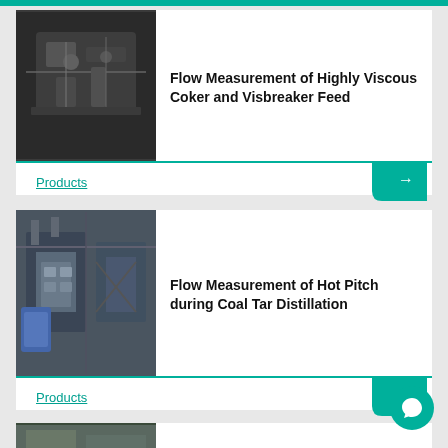[Figure (photo): Industrial flow measurement equipment, mechanical device mounted on dark structural surface]
Flow Measurement of Highly Viscous Coker and Visbreaker Feed
Products
[Figure (photo): Industrial plant interior showing blue/grey equipment, pipes, and metal structures for coal tar distillation]
Flow Measurement of Hot Pitch during Coal Tar Distillation
Products
[Figure (photo): Partial view of industrial equipment, partially cropped at bottom of page]